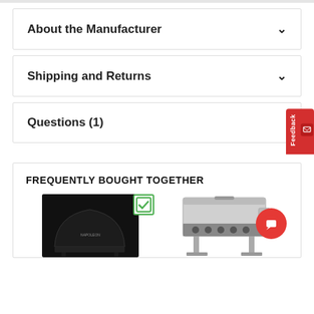About the Manufacturer
Shipping and Returns
Questions (1)
FREQUENTLY BOUGHT TOGETHER
[Figure (photo): Two product images: a black grill cover and a stainless steel grill, shown in a Frequently Bought Together section with a green checkbox overlay]
[Figure (other): Red Feedback tab on the right side of the page]
[Figure (other): Red circular chat bubble button in the bottom right]